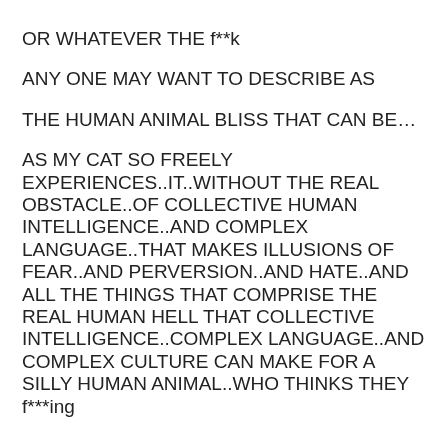OR WHATEVER THE f**k
ANY ONE MAY WANT TO DESCRIBE AS
THE HUMAN ANIMAL BLISS THAT CAN BE…
AS MY CAT SO FREELY EXPERIENCES..IT..WITHOUT THE REAL OBSTACLE..OF COLLECTIVE HUMAN INTELLIGENCE..AND COMPLEX LANGUAGE..THAT MAKES ILLUSIONS OF FEAR..AND PERVERSION..AND HATE..AND ALL THE THINGS THAT COMPRISE THE REAL HUMAN HELL THAT COLLECTIVE INTELLIGENCE..COMPLEX LANGUAGE..AND COMPLEX CULTURE CAN MAKE FOR A SILLY HUMAN ANIMAL..WHO THINKS THEY f***ing